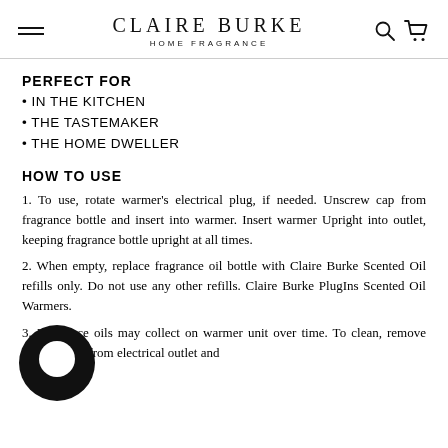CLAIRE BURKE HOME FRAGRANCE
PERFECT FOR
IN THE KITCHEN
THE TASTEMAKER
THE HOME DWELLER
HOW TO USE
1. To use, rotate warmer's electrical plug, if needed. Unscrew cap from fragrance bottle and insert into warmer. Insert warmer Upright into outlet, keeping fragrance bottle upright at all times.
2. When empty, replace fragrance oil bottle with Claire Burke Scented Oil refills only. Do not use any other refills. Claire Burke PlugIns Scented Oil Warmers.
3. Fragrance oils may collect on warmer unit over time. To clean, remove warmer unit from electrical outlet and